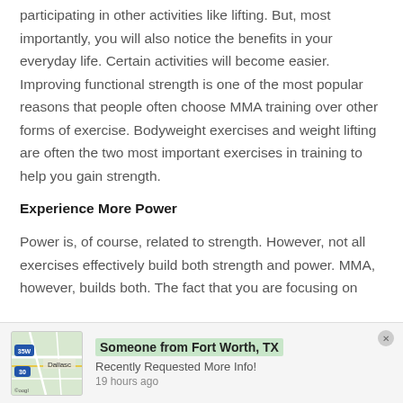participating in other activities like lifting. But, most importantly, you will also notice the benefits in your everyday life. Certain activities will become easier. Improving functional strength is one of the most popular reasons that people often choose MMA training over other forms of exercise. Bodyweight exercises and weight lifting are often the two most important exercises in training to help you gain strength.
Experience More Power
Power is, of course, related to strength. However, not all exercises effectively build both strength and power. MMA, however, builds both. The fact that you are focusing on
[Figure (map): Small map thumbnail showing Dallas/Fort Worth area road map]
Someone from Fort Worth, TX
Recently Requested More Info!
19 hours ago